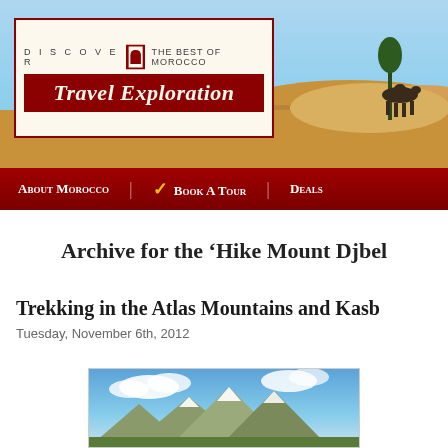[Figure (illustration): Travel Exploration website header with logo box showing 'DISCOVER THE BEST OF MOROCCO / Travel Exploration' and a desert/camel background scene]
DISCOVER | THE BEST OF MOROCCO
Travel Exploration
About Morocco | ✓ Book A Tour | Deals
Archive for the 'Hike Mount Djbel…'
Trekking in the Atlas Mountains and Kasb…
Tuesday, November 6th, 2012
[Figure (photo): Mountain landscape photo showing snowy Atlas Mountains peaks with blue sky and clouds]